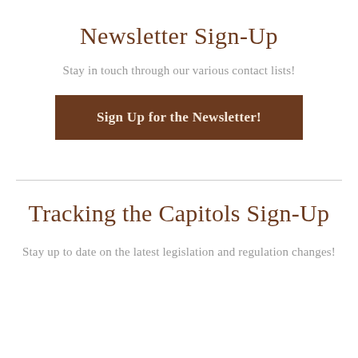Newsletter Sign-Up
Stay in touch through our various contact lists!
Sign Up for the Newsletter!
Tracking the Capitols Sign-Up
Stay up to date on the latest legislation and regulation changes!